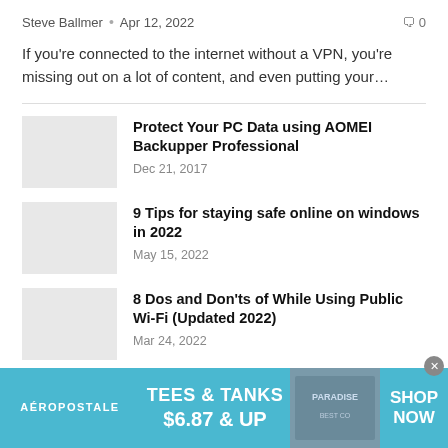Steve Ballmer • Apr 12, 2022   🗨 0
If you're connected to the internet without a VPN, you're missing out on a lot of content, and even putting your…
[Figure (illustration): Gray placeholder thumbnail image]
Protect Your PC Data using AOMEI Backupper Professional
Dec 21, 2017
[Figure (illustration): Gray placeholder thumbnail image]
9 Tips for staying safe online on windows in 2022
May 15, 2022
[Figure (illustration): Gray placeholder thumbnail image]
8 Dos and Don'ts of While Using Public Wi-Fi (Updated 2022)
Mar 24, 2022
[Figure (illustration): Aéropostale advertisement banner: TEES & TANKS $6.87 & UP SHOP NOW]